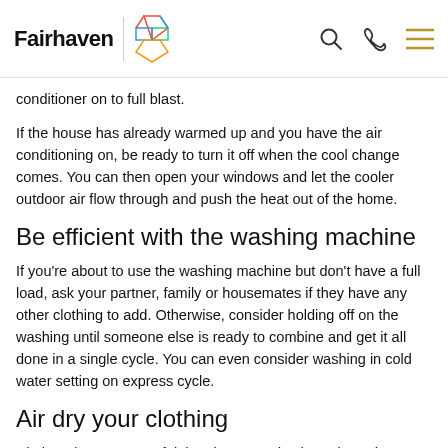Fairhaven
conditioner on to full blast.
If the house has already warmed up and you have the air conditioning on, be ready to turn it off when the cool change comes. You can then open your windows and let the cooler outdoor air flow through and push the heat out of the home.
Be efficient with the washing machine
If you're about to use the washing machine but don't have a full load, ask your partner, family or housemates if they have any other clothing to add. Otherwise, consider holding off on the washing until someone else is ready to combine and get it all done in a single cycle. You can even consider washing in cold water setting on express cycle.
Air dry your clothing
Clothes dryers are useful, but they sure do churn through electricity. When you aren't in a hurry to get your work shirt